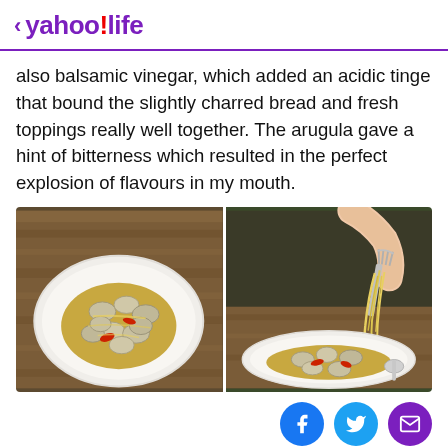< yahoo!life
also balsamic vinegar, which added an acidic tinge that bound the slightly charred bread and fresh toppings really well together. The arugula gave a hint of bitterness which resulted in the perfect explosion of flavours in my mouth.
[Figure (photo): Two side-by-side food photos: left shows a white plate with clam pasta (vongole) garnished with red chili slices; right shows a hand twirling spaghetti alle vongole with a fork over a bowl of the same dish.]